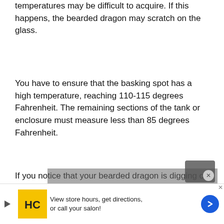temperatures may be difficult to acquire. If this happens, the bearded dragon may scratch on the glass.
You have to ensure that the basking spot has a high temperature, reaching 110-115 degrees Fahrenheit. The remaining sections of the tank or enclosure must measure less than 85 degrees Fahrenheit.
If you notice that your bearded dragon is digging or glass surfing, this may indicate that they want a spot with a cooler temperature. However, if the basking area is not warm enough, it may climb higher to be closer to...
[Figure (screenshot): Video overlay with text 'No compatible source was found for this.' and a video player control bar]
[Figure (screenshot): Advertisement banner: HC logo, play button, text 'View store hours, get directions, or call your salon!', blue circular arrow button, X close button]